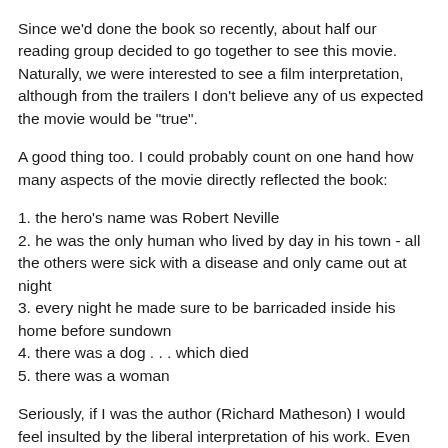Since we'd done the book so recently, about half our reading group decided to go together to see this movie. Naturally, we were interested to see a film interpretation, although from the trailers I don't believe any of us expected the movie would be "true".
A good thing too. I could probably count on one hand how many aspects of the movie directly reflected the book:
1. the hero's name was Robert Neville
2. he was the only human who lived by day in his town - all the others were sick with a disease and only came out at night
3. every night he made sure to be barricaded inside his home before sundown
4. there was a dog . . . which died
5. there was a woman
Seriously, if I was the author (Richard Matheson) I would feel insulted by the liberal interpretation of his work. Even the main themes -- and even the point -- of the novel were done